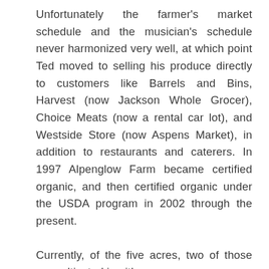Unfortunately the farmer's market schedule and the musician's schedule never harmonized very well, at which point Ted moved to selling his produce directly to customers like Barrels and Bins, Harvest (now Jackson Whole Grocer), Choice Meats (now a rental car lot), and Westside Store (now Aspens Market), in addition to restaurants and caterers. In 1997 Alpenglow Farm became certified organic, and then certified organic under the USDA program in 2002 through the present.
Currently, of the five acres, two of those are cultivated in either crops or...